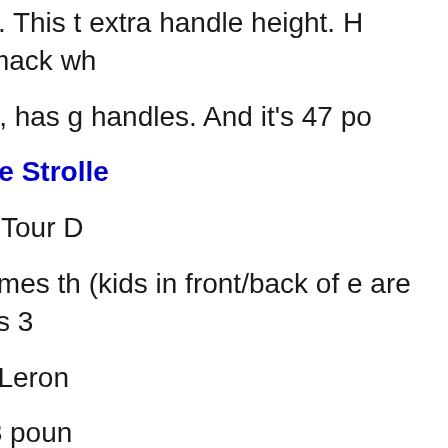Chico Trevi Twin. This t extra handle height. H chassis...right smack wh
Kolcraft's double, has g handles. And it's 47 po
The Best Double Strolle
1. Graco Quatro Tour D
Graco almost comes th (kids in front/back of e are higher... BUT...it's 3
2. The Twin MacLeron
It's light - only 23 poun